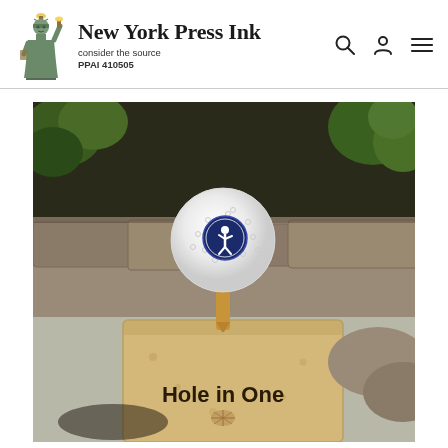New York Press Ink — consider the source — PPAI 410505
[Figure (photo): A white golf ball on a wooden tee, sitting on a sandy stone block engraved with 'Hole in One'. The golf ball has a circular logo. Background shows rocks and greenery.]